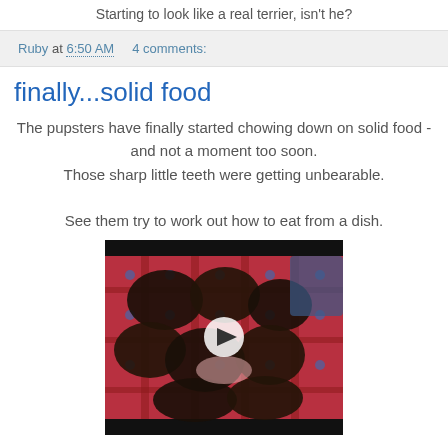Starting to look like a real terrier, isn't he?
Ruby at 6:50 AM    4 comments:
finally...solid food
The pupsters have finally started chowing down on solid food - and not a moment too soon.
Those sharp little teeth were getting unbearable.

See them try to work out how to eat from a dish.
[Figure (photo): Video thumbnail showing puppies gathered around a dish on a red plaid blanket, with a play button overlay. A person's leg is visible in the upper right corner.]